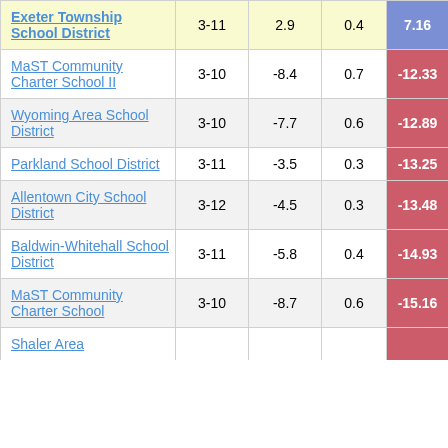| School/District | Grades | Col3 | Col4 | Score |
| --- | --- | --- | --- | --- |
| Exeter Township School District | 3-11 | 2.9 | 0.4 | 7.16 |
| MaST Community Charter School II | 3-10 | -8.4 | 0.7 | -12.33 |
| Wyoming Area School District | 3-10 | -7.7 | 0.6 | -12.89 |
| Parkland School District | 3-11 | -3.5 | 0.3 | -13.25 |
| Allentown City School District | 3-12 | -4.5 | 0.3 | -13.48 |
| Baldwin-Whitehall School District | 3-11 | -5.8 | 0.4 | -14.93 |
| MaST Community Charter School | 3-10 | -8.7 | 0.6 | -15.16 |
| Shaler Area ... | 3-11 | -4.1 | 0.1 | ... |